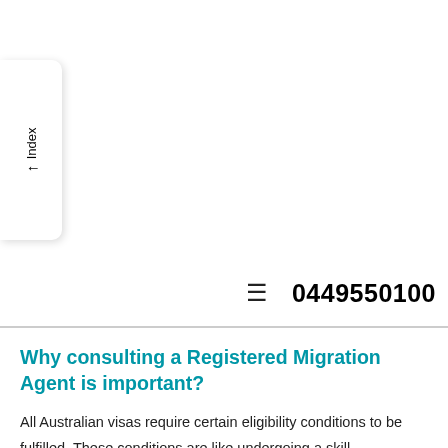↑ Index
☰  0449550100
Why consulting a Registered Migration Agent is important?
All Australian visas require certain eligibility conditions to be fulfilled. These conditions are like undergoing a skill assessment, scoring above 65 points in point score test, age limits, etc. similarly. There is a set application process for every visa